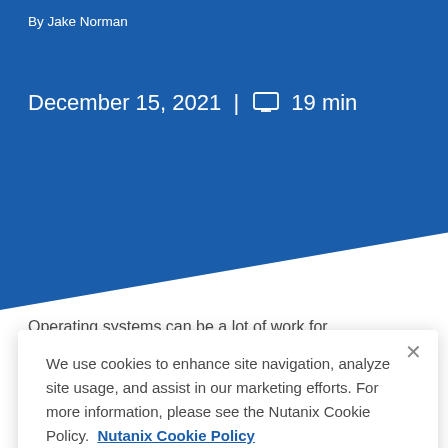By Jake Norman
December 15, 2021 | 🖥 19 min
Operating systems can be a lot of work for administrators – work to configure the image, work to install the applications, and work to provide the
We use cookies to enhance site navigation, analyze site usage, and assist in our marketing efforts. For more information, please see the Nutanix Cookie Policy.  Nutanix Cookie Policy